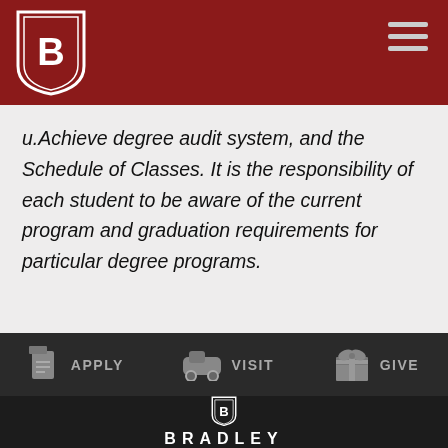[Figure (logo): Bradley University shield logo in white on dark red header bar]
u.Achieve degree audit system, and the Schedule of Classes. It is the responsibility of each student to be aware of the current program and graduation requirements for particular degree programs.
[Figure (infographic): Dark navigation bar with three icons and labels: document icon APPLY, car icon VISIT, gift icon GIVE]
[Figure (logo): Bradley University shield logo in white on dark footer background with BRADLEY wordmark]